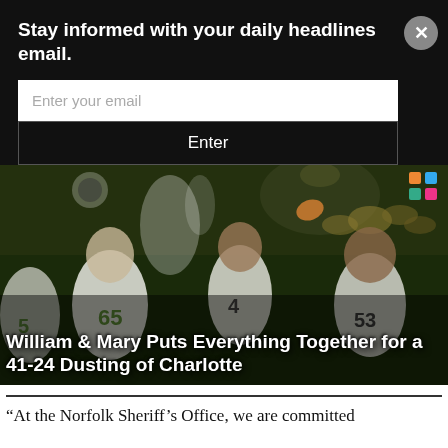Stay informed with your daily headlines email.
Enter your email
Enter
[Figure (photo): Football players celebrating on field at night, with confetti, players wearing white/green uniforms with numbers 65, 4, 53 visible; crowd in background]
William & Mary Puts Everything Together for a 41-24 Dusting of Charlotte
“At the Norfolk Sheriff’s Office, we are committed